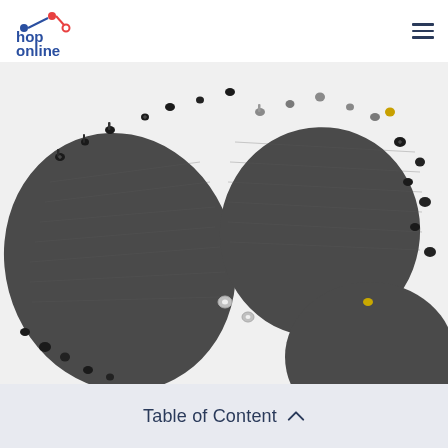[Figure (logo): hop online logo with blue text and red/orange hop path icon]
[Figure (photo): Overhead close-up photo of various black and silver screws, nuts, bolts and fasteners scattered around dark grey metal circular and triangular plates on a white background]
Table of Content